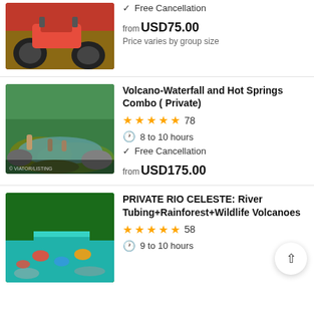[Figure (photo): ATV quad bike on a beach/dirt area]
Free Cancellation
from USD75.00
Price varies by group size
[Figure (photo): People at a natural hot spring / waterfall pool surrounded by jungle]
Volcano-Waterfall and Hot Springs Combo ( Private)
78 reviews, 5 stars
8 to 10 hours
Free Cancellation
from USD175.00
[Figure (photo): River tubing on a turquoise river through rainforest – Rio Celeste]
PRIVATE RIO CELESTE: River Tubing+Rainforest+Wildlife Volcanoes
58 reviews, 5 stars
9 to 10 hours